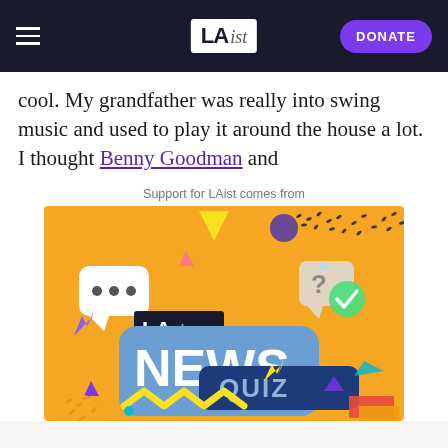LAist | DONATE
cool. My grandfather was really into swing music and used to play it around the house a lot. I thought Benny Goodman and
Support for LAist comes from
[Figure (illustration): LAist News Quiz promotional image with colorful geometric shapes on orange background]